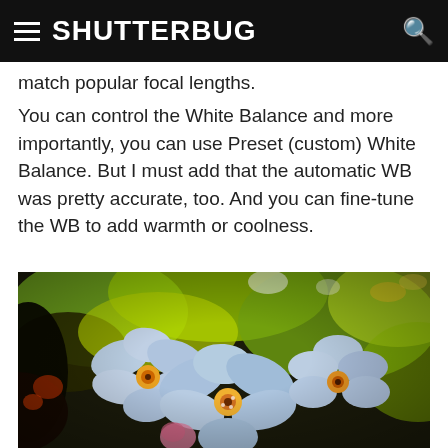SHUTTERBUG
match popular focal lengths.
You can control the White Balance and more importantly, you can use Preset (custom) White Balance. But I must add that the automatic WB was pretty accurate, too. And you can fine-tune the WB to add warmth or coolness.
[Figure (photo): Close-up photo of pale blue forget-me-not flowers with yellow centers against a vivid green bokeh background, with heavy color processing/saturation.]